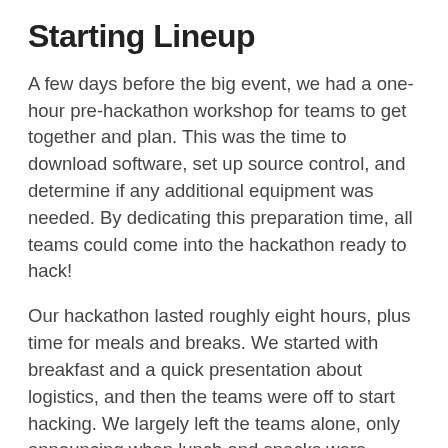Starting Lineup
A few days before the big event, we had a one-hour pre-hackathon workshop for teams to get together and plan. This was the time to download software, set up source control, and determine if any additional equipment was needed. By dedicating this preparation time, all teams could come into the hackathon ready to hack!
Our hackathon lasted roughly eight hours, plus time for meals and breaks. We started with breakfast and a quick presentation about logistics, and then the teams were off to start hacking. We largely left the teams alone, only announcing when lunch and snacks were available and giving a few time warnings before the clock ran out. Once hacking ended, the presentations and